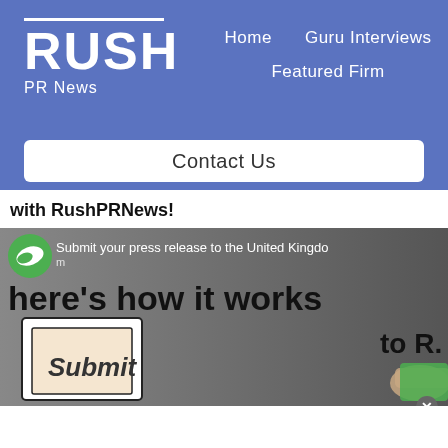[Figure (logo): RUSH PR News logo with white text on blue background, with navigation links Home, Guru Interviews, Featured Firm]
Contact Us
with RushPRNews!
[Figure (screenshot): Video thumbnail showing 'here's how it works' with Submit button graphic, YouTube play button, and overlay text 'Submit your press release to the United Kingdom']